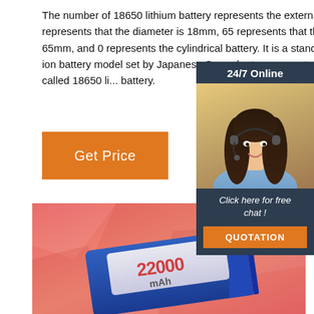The number of 18650 lithium battery represents the external size: 18 represents that the diameter is 18mm, 65 represents that the length is 65mm, and 0 represents the cylindrical battery. It is a standard lithium ion battery model set by Japanese S... order to save costs, which is called 18650 li... battery.
[Figure (other): Orange 'Get Price' button]
[Figure (illustration): 24/7 Online chat widget with female customer service agent wearing headset. Dark blue/grey background with orange 'QUOTATION' button. Text: '24/7 Online', 'Click here for free chat!', 'QUOTATION']
[Figure (photo): Blue lithium battery pack labeled '22000 mAh' on a pink/coral geometric polygon background]